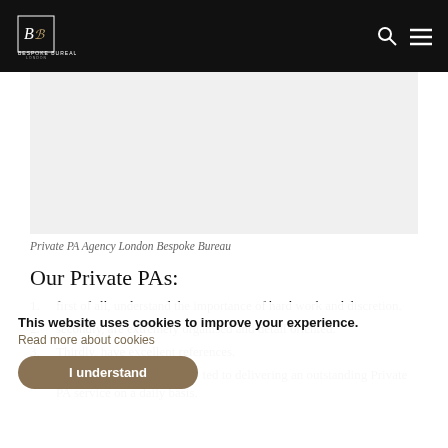Bespoke Bureau — navigation bar with logo, search icon, and menu icon
[Figure (photo): Light grey rectangular image placeholder representing a Private PA Agency London Bespoke Bureau photo]
Private PA Agency London Bespoke Bureau
Our Private PAs:
first of all, understand the importance of hard work and discretion.
secondly, are extremely organised and detail oriented.
Thirdly, have excellent references.
last but not least, are committed to delivering an outstanding Private PA service on a daily basis.
This website uses cookies to improve your experience. Read more about cookies. I understand